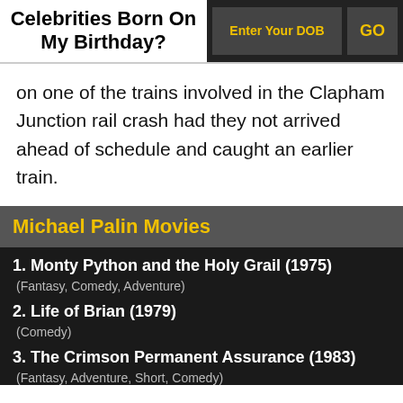Celebrities Born On My Birthday?
on one of the trains involved in the Clapham Junction rail crash had they not arrived ahead of schedule and caught an earlier train.
Michael Palin Movies
1. Monty Python and the Holy Grail (1975)
(Fantasy, Comedy, Adventure)
2. Life of Brian (1979)
(Comedy)
3. The Crimson Permanent Assurance (1983)
(Fantasy, Adventure, Short, Comedy)